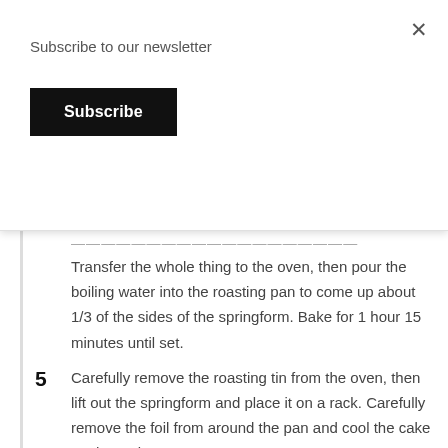Subscribe to our newsletter
Subscribe
Transfer the whole thing to the oven, then pour the boiling water into the roasting pan to come up about 1/3 of the sides of the springform. Bake for 1 hour 15 minutes until set.
5 Carefully remove the roasting tin from the oven, then lift out the springform and place it on a rack. Carefully remove the foil from around the pan and cool the cake on the rack.
6 This cake is best served at room temperature